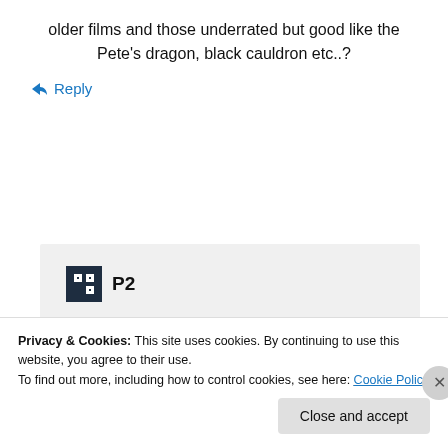older films and those underrated but good like the Pete's dragon, black cauldron etc..?
↳ Reply
[Figure (screenshot): P2 advertisement: logo with WordPress-style icon and 'P2' text, headline 'Getting your team on the same page is easy. And free.' with avatar circles below.]
Privacy & Cookies: This site uses cookies. By continuing to use this website, you agree to their use.
To find out more, including how to control cookies, see here: Cookie Policy
Close and accept